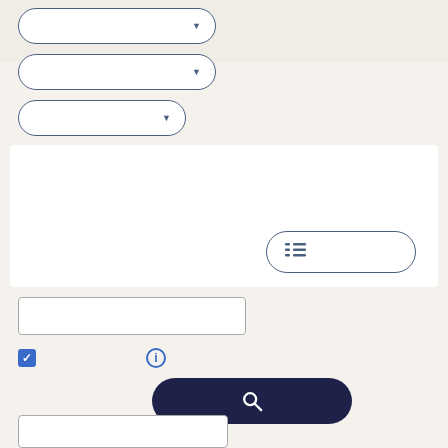[Figure (screenshot): UI form with dropdown selectors, a white content panel with a list button, a text input field, a checkbox, an info icon, a dark search button with magnifying glass icon, and a bottom text input field.]